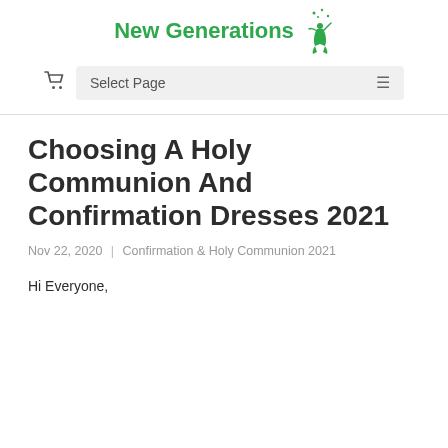New Generations
Choosing A Holy Communion And Confirmation Dresses 2021
Nov 22, 2020 | Confirmation & Holy Communion 2021
Hi Everyone,